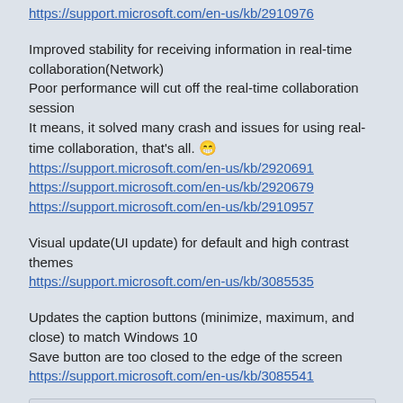https://support.microsoft.com/en-us/kb/2910976
Improved stability for receiving information in real-time collaboration(Network)
Poor performance will cut off the real-time collaboration session
It means, it solved many crash and issues for using real-time collaboration, that's all. 😁
https://support.microsoft.com/en-us/kb/2920691
https://support.microsoft.com/en-us/kb/2920679
https://support.microsoft.com/en-us/kb/2910957
Visual update(UI update) for default and high contrast themes
https://support.microsoft.com/en-us/kb/3085535
Updates the caption buttons (minimize, maximum, and close) to match Windows 10
Save button are too closed to the edge of the screen
https://support.microsoft.com/en-us/kb/3085541
Quote
Sends application versions (.exe) in per upload metadata instead of Office versions.
...